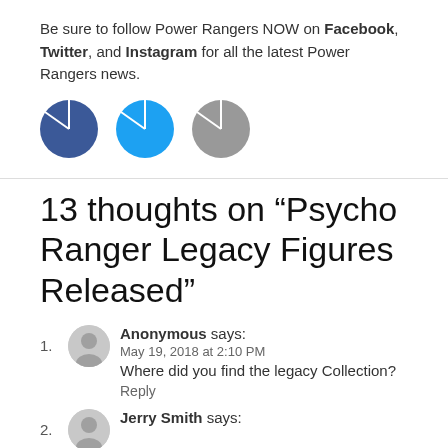Be sure to follow Power Rangers NOW on Facebook, Twitter, and Instagram for all the latest Power Rangers news.
[Figure (illustration): Three social media icon circles: dark blue (Facebook), cyan/blue (Twitter), gray (Instagram)]
13 thoughts on “Psycho Ranger Legacy Figures Released”
1. Anonymous says: May 19, 2018 at 2:10 PM Where did you find the legacy Collection? Reply
2. Jerry Smith says: